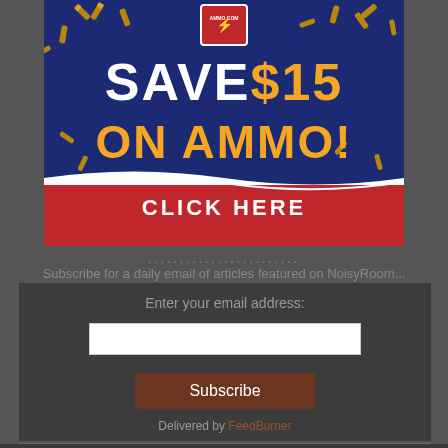[Figure (illustration): Advertisement banner for ammo.com showing bullet casings scattered around a dark blue background with text 'SAVE $15 ON AMMO!' in white and gold, a red 'CLICK HERE' button at the bottom, and an ammo.com shield logo.]
........................
Subscribe for a daily email of articles featured on NoisyRoom...
Enter your email address:
Subscribe
Delivered by FeedBurner
[Figure (illustration): Small icon/image placeholder]
Purchase at New Zeal